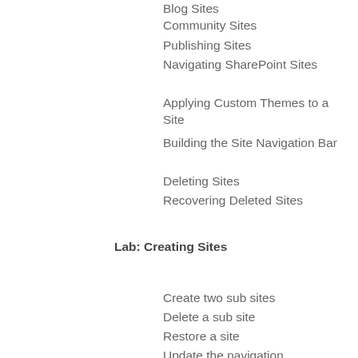Blog Sites
Community Sites
Publishing Sites
Navigating SharePoint Sites
Applying Custom Themes to a Site
Building the Site Navigation Bar
Deleting Sites
Recovering Deleted Sites
Lab: Creating Sites
Create two sub sites
Delete a sub site
Restore a site
Update the navigation